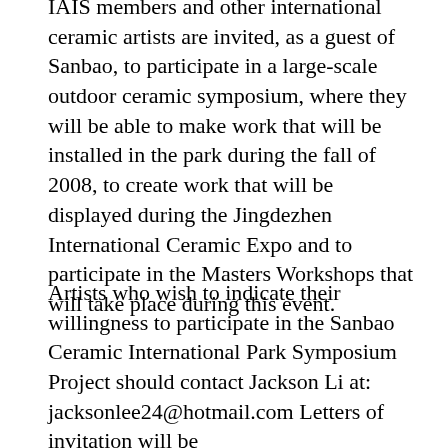IAIS members and other international ceramic artists are invited, as a guest of Sanbao, to participate in a large-scale outdoor ceramic symposium, where they will be able to make work that will be installed in the park during the fall of 2008, to create work that will be displayed during the Jingdezhen International Ceramic Expo and to participate in the Masters Workshops that will take place during this event.
Artists who wish to indicate their willingness to participate in the Sanbao Ceramic International Park Symposium Project should contact Jackson Li at: jacksonlee24@hotmail.com Letters of invitation will be